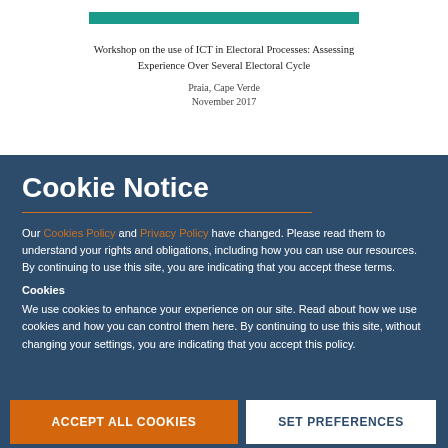[Figure (other): Teal/green horizontal decorative bar on white background]
Workshop on the use of ICT in Electoral Processes: Assessing Experience Over Several Electoral Cycle
Praia, Cape Verde
November 2017
Cookie Notice
Our Cookies Policy and Privacy Policy have changed. Please read them to understand your rights and obligations, including how you can use our resources. By continuing to use this site, you are indicating that you accept these terms.
Cookies
We use cookies to enhance your experience on our site. Read about how we use cookies and how you can control them here. By continuing to use this site, without changing your settings, you are indicating that you accept this policy.
ACCEPT ALL COOKIES
SET PREFERENCES